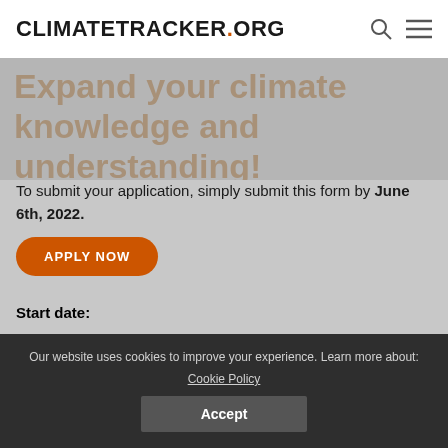CLIMATETRACKER.ORG
[Figure (illustration): Hero background image showing silhouetted figures, with large faded orange watermark text reading 'Expand your climate knowledge and understanding!']
To submit your application, simply submit this form by June 6th, 2022.
APPLY NOW
Start date:
Projected to start in June 2022
Our website uses cookies to improve your experience. Learn more about: Cookie Policy
Accept